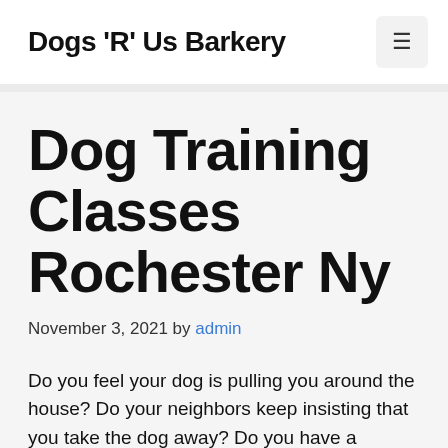Dogs 'R' Us Barkery
Dog Training Classes Rochester Ny
November 3, 2021 by admin
Do you feel your dog is pulling you around the house? Do your neighbors keep insisting that you take the dog away? Do you have a